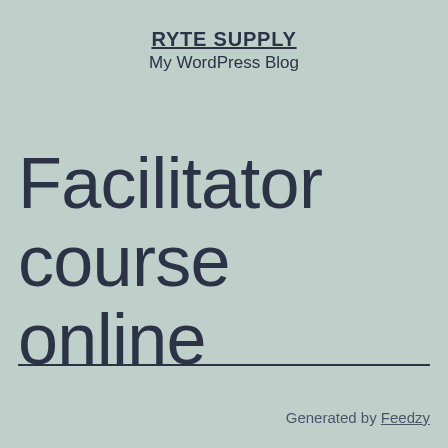RYTE SUPPLY
My WordPress Blog
Facilitator course online
Generated by Feedzy